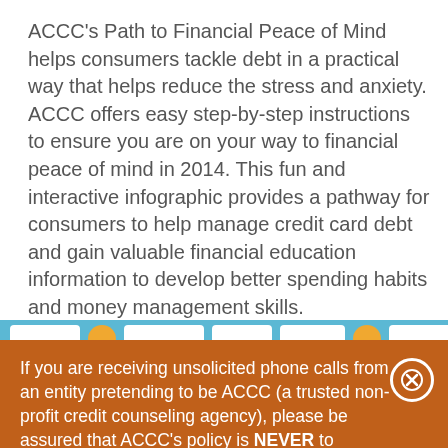ACCC's Path to Financial Peace of Mind helps consumers tackle debt in a practical way that helps reduce the stress and anxiety. ACCC offers easy step-by-step instructions to ensure you are on your way to financial peace of mind in 2014. This fun and interactive infographic provides a pathway for consumers to help manage credit card debt and gain valuable financial education information to develop better spending habits and money management skills.
[Figure (infographic): Top strip of an infographic showing colorful tiles and icons on a blue background, partially visible]
If you are receiving unsolicited phone calls from an entity pretending to be ACCC (a trusted non-profit credit counseling agency), please be assured that ACCC's policy is NEVER to contact you unless you've explicitly requested for us to call you.